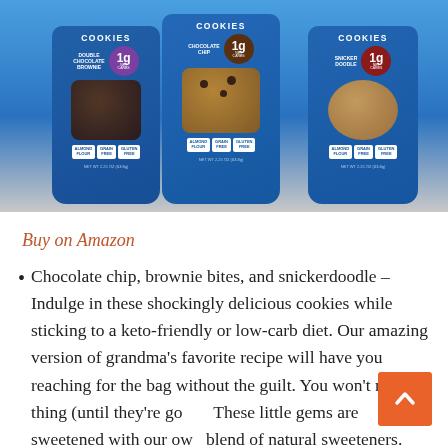[Figure (photo): Three blue packages of low-carb cookies — Double Chocolate Brownie, Chocolate Chip, and Snickerdoodle — each labeled '1g Net Carbs', made with Almond Flour, Grain Free, Gluten Free]
Buy on Amazon
Chocolate chip, brownie bites, and snickerdoodle – Indulge in these shockingly delicious cookies while sticking to a keto-friendly or low-carb diet. Our amazing version of grandma's favorite recipe will have you reaching for the bag without the guilt. You won't miss a thing (until they're go… These little gems are sweetened with our ow… blend of natural sweeteners. Zero added sugar;